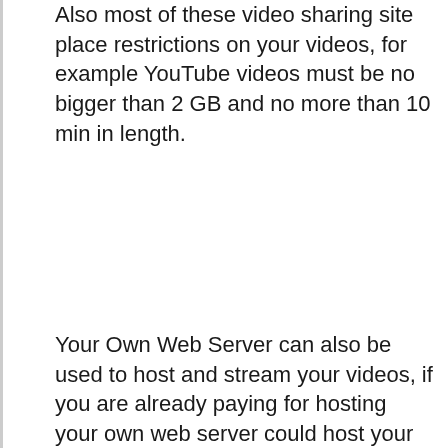Also most of these video sharing site place restrictions on your videos, for example YouTube videos must be no bigger than 2 GB and no more than 10 min in length.
Your Own Web Server can also be used to host and stream your videos, if you are already paying for hosting your own web server could host your videos depending on the size of your hosting package and the use of your videos. You want to be sure you have enough storage and plenty of bandwidth if you are expecting to get a lot of traffic; it would make sense to discuss your